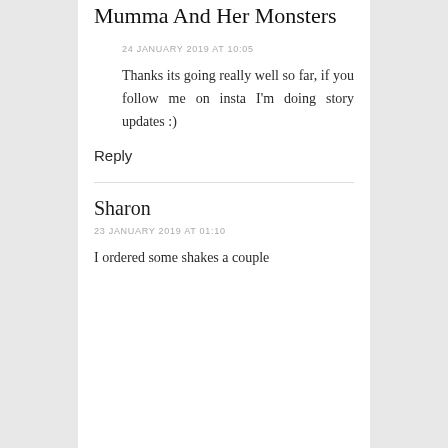Mumma And Her Monsters
24 JANUARY 2019 AT 10:05
Thanks its going really well so far, if you follow me on insta I'm doing story updates :)
Reply
Sharon
23 JANUARY 2019 AT 01:10
I ordered some shakes a couple